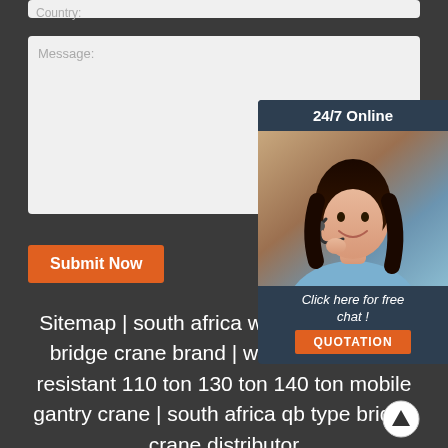Country:
Message:
[Figure (illustration): 24/7 Online chat widget with a woman wearing a headset, 'Click here for free chat!' text, and an orange QUOTATION button]
Submit Now
Sitemap | south africa warehouse 20ton bridge crane brand | where buy wear-resistant 110 ton 130 ton 140 ton mobile gantry crane | south africa qb type bridge crane distributor